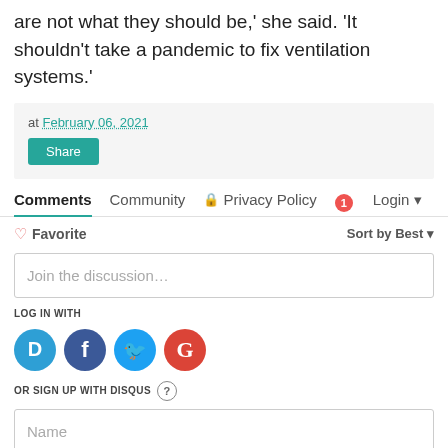are not what they should be,' she said. 'It shouldn't take a pandemic to fix ventilation systems.'
at February 06, 2021
Share
Comments  Community  Privacy Policy  Login
Favorite  Sort by Best
Join the discussion…
LOG IN WITH
[Figure (other): Social login icons: Disqus (D), Facebook (f), Twitter bird, Google (G)]
OR SIGN UP WITH DISQUS ?
Name